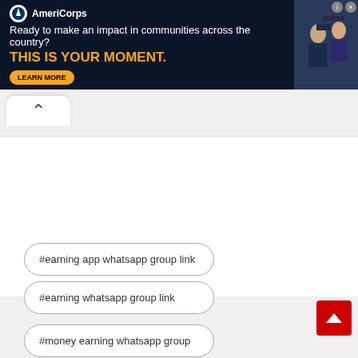[Figure (screenshot): AmeriCorps advertisement banner with dark navy background. Logo with circular AmeriCorps icon and text 'AmeriCorps'. Tagline: 'Ready to make an impact in communities across the country?' Headline in yellow/orange: 'THIS IS YOUR MOMENT.' with a 'LEARN MORE' button. Photo of people on right side.]
[Figure (screenshot): Browser tab bar with a white rounded tab showing an upward chevron (back/collapse arrow).]
[Figure (screenshot): White blank content area (embedded content placeholder).]
#earning app whatsapp group link
#earning whatsapp group link
#money earning whatsapp group